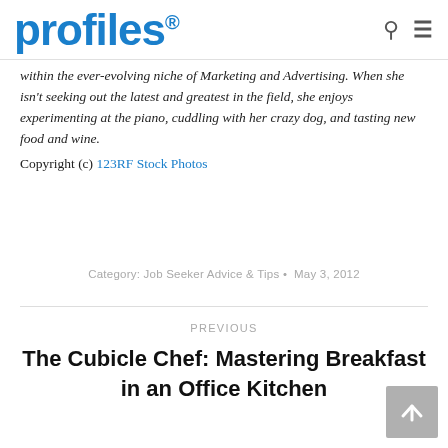profiles
within the ever-evolving niche of Marketing and Advertising. When she isn't seeking out the latest and greatest in the field, she enjoys experimenting at the piano, cuddling with her crazy dog, and tasting new food and wine. Copyright (c) 123RF Stock Photos
Category: Job Seeker Advice & Tips • May 3, 2012
PREVIOUS
The Cubicle Chef: Mastering Breakfast in an Office Kitchen